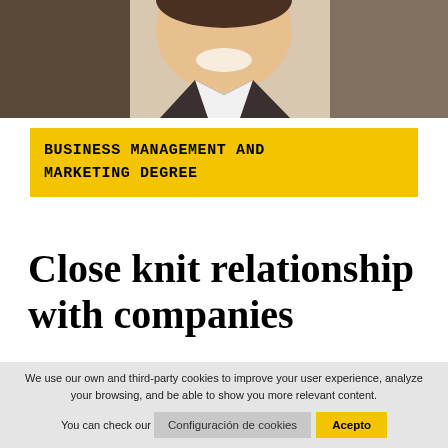[Figure (photo): Smiling young man in a suit jacket, photographed from the chest up against a blurred background.]
BUSINESS MANAGEMENT AND MARKETING DEGREE
Close knit relationship with companies
We use our own and third-party cookies to improve your user experience, analyze your browsing, and be able to show you more relevant content.
You can check our
Configuración de cookies
Acepto